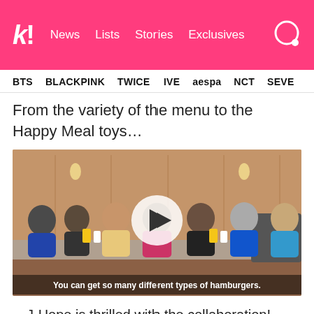k! News Lists Stories Exclusives
BTS  BLACKPINK  TWICE  IVE  aespa  NCT  SEVE
From the variety of the menu to the Happy Meal toys…
[Figure (photo): Video thumbnail showing BTS members seated at a McDonald's table with Happy Meal boxes, with a play button overlay and subtitle 'You can get so many different types of hamburgers.']
…J-Hope is thrilled with the collaboration!